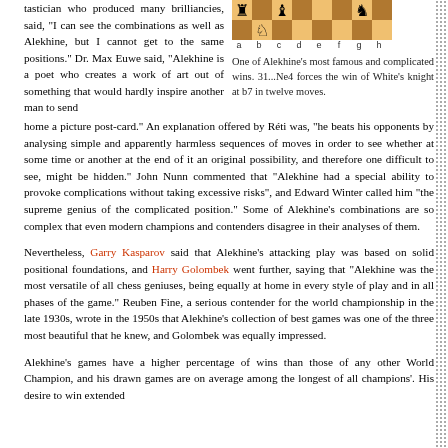tastician who produced many brilliancies, said, "I can see the combinations as well as Alekhine, but I cannot get to the same positions." Dr. Max Euwe said, "Alekhine is a poet who creates a work of art out of something that would hardly inspire another man to send home a picture post-card." An explanation offered by Réti was, "he beats his opponents by analysing simple and apparently harmless sequences of moves in order to see whether at some time or another at the end of it an original possibility, and therefore one difficult to see, might be hidden." John Nunn commented that "Alekhine had a special ability to provoke complications without taking excessive risks", and Edward Winter called him "the supreme genius of the complicated position." Some of Alekhine's combinations are so complex that even modern champions and contenders disagree in their analyses of them.
[Figure (other): Chess board diagram showing a position with pieces on various squares. File labels a through h shown below the board.]
One of Alekhine's most famous and complicated wins. 31...Ne4 forces the win of White's knight at b7 in twelve moves.
Nevertheless, Garry Kasparov said that Alekhine's attacking play was based on solid positional foundations, and Harry Golombek went further, saying that "Alekhine was the most versatile of all chess geniuses, being equally at home in every style of play and in all phases of the game." Reuben Fine, a serious contender for the world championship in the late 1930s, wrote in the 1950s that Alekhine's collection of best games was one of the three most beautiful that he knew, and Golombek was equally impressed.
Alekhine's games have a higher percentage of wins than those of any other World Champion, and his drawn games are on average among the longest of all champions'. His desire to win extended